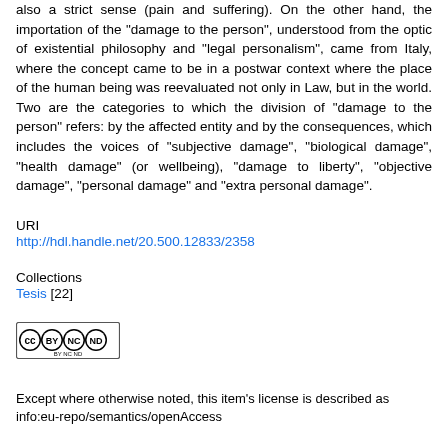also a strict sense (pain and suffering). On the other hand, the importation of the "damage to the person", understood from the optic of existential philosophy and "legal personalism", came from Italy, where the concept came to be in a postwar context where the place of the human being was reevaluated not only in Law, but in the world. Two are the categories to which the division of "damage to the person" refers: by the affected entity and by the consequences, which includes the voices of "subjective damage", "biological damage", "health damage" (or wellbeing), "damage to liberty", "objective damage", "personal damage" and "extra personal damage".
URI
http://hdl.handle.net/20.500.12833/2358
Collections
Tesis [22]
[Figure (logo): Creative Commons license badge: CC BY-NC-ND]
Except where otherwise noted, this item's license is described as info:eu-repo/semantics/openAccess